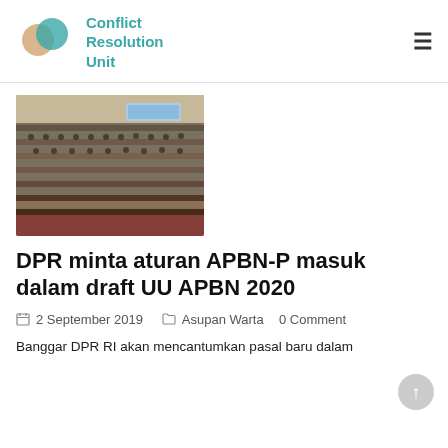[Figure (logo): Conflict Resolution Unit logo with two overlapping circles (beige and teal) and text 'Conflict Resolution Unit' in teal]
[Figure (photo): Photo of a large government meeting room with people seated at long tables under bright ceiling lights, taken from an elevated angle]
DPR minta aturan APBN-P masuk dalam draft UU APBN 2020
2 September 2019   Asupan Warta   0 Comment
Banggar DPR RI akan mencantumkan pasal baru dalam